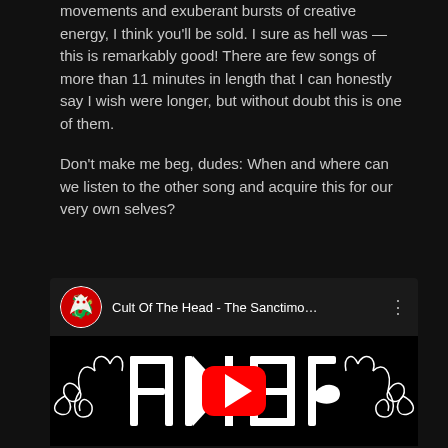movements and exuberant bursts of creative energy, I think you'll be sold. I sure as hell was — this is remarkably good! There are few songs of more than 11 minutes in length that I can honestly say I wish were longer, but without doubt this is one of them.

Don't make me beg, dudes: When and where can we listen to the other song and acquire this for our very own selves?
[Figure (screenshot): YouTube embed showing 'Cult Of The Head - The Sanctimo...' with a red dragon avatar icon, three-dot menu, and a black thumbnail featuring an ornate white gothic logo with a red YouTube play button overlay]